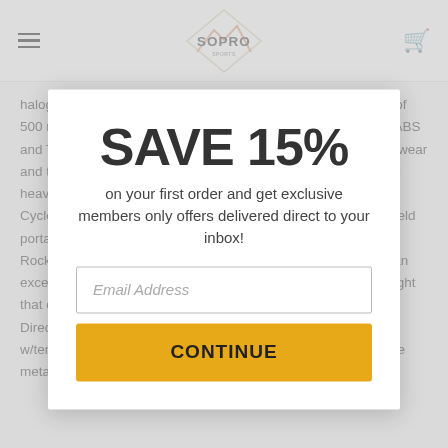[Figure (logo): SOPRO logo with geometric diamond and mountain shape in orange/gray tones]
halogen bulb capable of 1500 lumens and reaching a distance of 500 meters. The water and spotlight is constructed from tough ABS and Tempered glass materials making it sturdy and resistant to wear and tear. The seeker-1500 comes with a 12V DC adapter with a heavy-gauge 10 foot coiled cord and a voltage regulator. Extra Cyclops features include an adjustable angle handle for hand-held portable use, slip-proof soft TPR coating, convenient hasp, and Rocker on/off switch on the back. The Cyclops seeker-1500 is an excellent choice for anyone needing a powerful, portable spot light that can be used comfortably. Features: 105 watt halogen bulb. Direct Use with 12V DC plug Adapter 5 inch iron reflector w/tempered glass lens. Durable ABS plastic housing Retractable metal bracket Heavy Gauge 10 ft. (3M) coiled
SAVE 15%
on your first order and get exclusive members only offers delivered direct to your inbox!
Email Address
CONTINUE